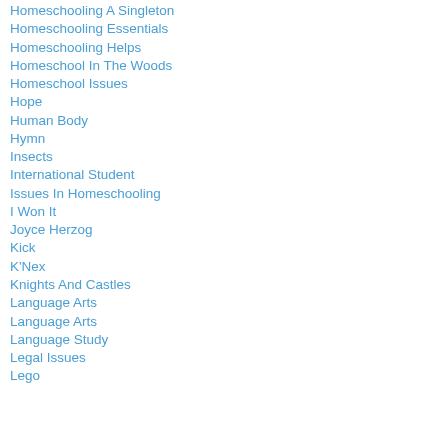Homeschooling A Singleton
Homeschooling Essentials
Homeschooling Helps
Homeschool In The Woods
Homeschool Issues
Hope
Human Body
Hymn
Insects
International Student
Issues In Homeschooling
I Won It
Joyce Herzog
Kick
K'Nex
Knights And Castles
Language Arts
Language Arts
Language Study
Legal Issues
Lego